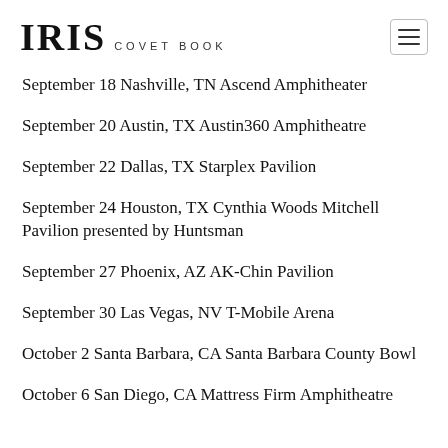IRIS COVET BOOK
September 18 Nashville, TN Ascend Amphitheater
September 20 Austin, TX Austin360 Amphitheatre
September 22 Dallas, TX Starplex Pavilion
September 24 Houston, TX Cynthia Woods Mitchell Pavilion presented by Huntsman
September 27 Phoenix, AZ AK-Chin Pavilion
September 30 Las Vegas, NV T-Mobile Arena
October 2 Santa Barbara, CA Santa Barbara County Bowl
October 6 San Diego, CA Mattress Firm Amphitheatre